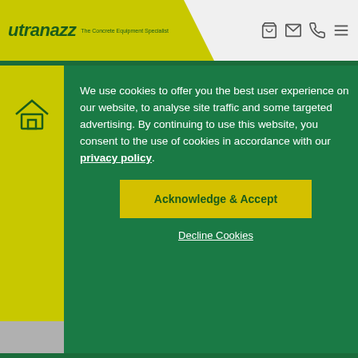[Figure (screenshot): Utranazz website header with logo, tagline 'The Concrete Equipment Specialist', navigation icons (cart, email, phone, menu), yellow diagonal shape, and green nav bar]
We use cookies to offer you the best user experience on our website, to analyse site traffic and some targeted advertising. By continuing to use this website, you consent to the use of cookies in accordance with our privacy policy.
Acknowledge & Accept
Decline Cookies